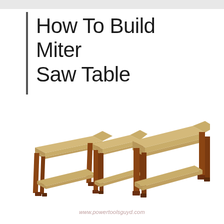How To Build Miter Saw Table
[Figure (illustration): 3D rendered illustration of a miter saw table setup consisting of three wooden workbenches arranged in a row. The two outer benches are taller with lower shelves, and the center bench is slightly lower to accommodate the miter saw. All benches have brown wooden legs and tan/beige plywood tops and shelves.]
www.powertoolsguyd.com